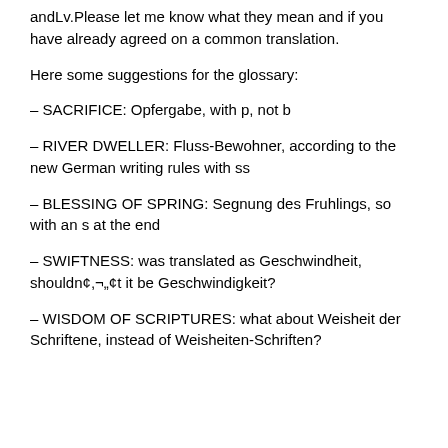andLv.Please let me know what they mean and if you have already agreed on a common translation.
Here some suggestions for the glossary:
– SACRIFICE: Opfergabe, with p, not b
– RIVER DWELLER: Fluss-Bewohner, according to the new German writing rules with ss
– BLESSING OF SPRING: Segnung des Fruhlings, so with an s at the end
– SWIFTNESS: was translated as Geschwindheit, shouldn¢,¬„¢t it be Geschwindigkeit?
– WISDOM OF SCRIPTURES: what about Weisheit der Schriftene‌, instead of Weisheiten-Schriften?